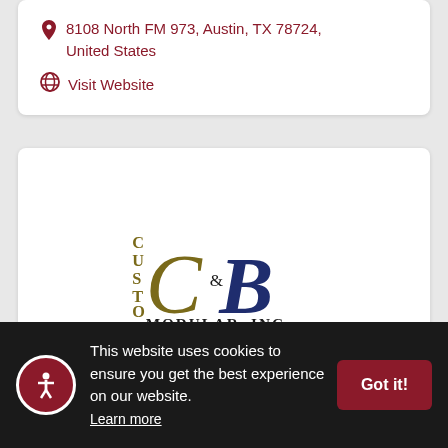8108 North FM 973, Austin, TX 78724, United States
Visit Website
[Figure (logo): C&B Modular, Inc. company logo with stylized C and B letters and 'CUSTO' stacked vertically on the left, 'MODULAR, INC.' text below]
This website uses cookies to ensure you get the best experience on our website. Learn more
Got it!